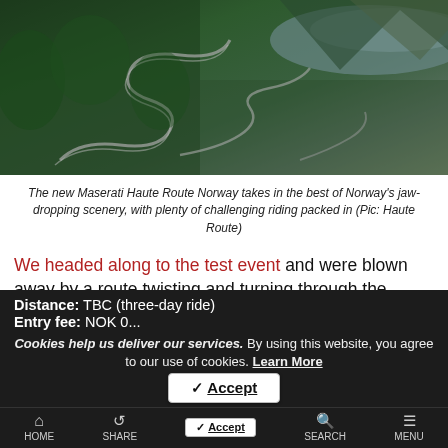[Figure (photo): Aerial view of a winding mountain road with hairpin turns through dense green Norwegian forest, with the ocean/fjord visible in the background]
The new Maserati Haute Route Norway takes in the best of Norway's jaw-dropping scenery, with plenty of challenging riding packed in (Pic: Haute Route)
We headed along to the test event and were blown away by a route twisting and turning through the Norwegian fjords. Expect rivers, lakes and waterfalls, rolling countryside and wild mountains, taking in the best of Norway's jaw-dropping scenery.
Distance: TBC (three-day ride)
Entry fee: NOK 0...
Cookies help us deliver our services. By using this website, you agree to our use of cookies. Learn More
✓ Accept